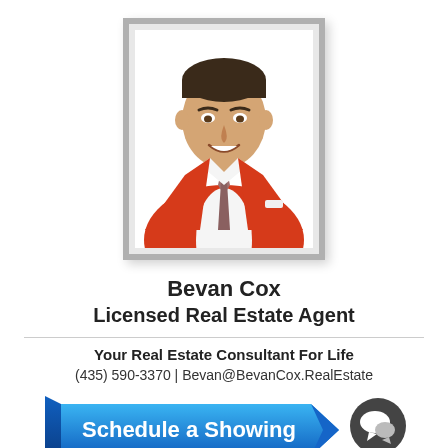[Figure (photo): Professional headshot of Bevan Cox, a man in a red blazer and patterned tie, smiling, set against a white background with a gray frame border.]
Bevan Cox
Licensed Real Estate Agent
Your Real Estate Consultant For Life
(435) 590-3370 | Bevan@BevanCox.RealEstate
[Figure (illustration): Blue ribbon-style button reading 'Schedule a Showing' with a dark gray chat bubble icon to the right.]